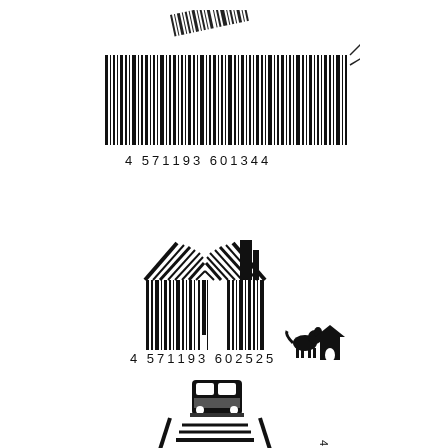[Figure (illustration): Creative barcode illustration shaped like a torn/peeling barcode with number 4 571193 601344, tilted at an angle as if being peeled off]
[Figure (illustration): Creative barcode illustration shaped like a house with barcode bars forming the walls and roof, with a small dog and doghouse silhouette beside it, number 4 571193 602525]
[Figure (illustration): Creative barcode illustration shaped like a train on railroad tracks receding into perspective, with barcode bars forming the track ties, number 4571193601900, rotated sideways]